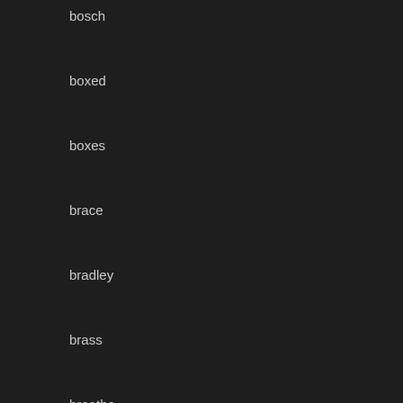bosch
boxed
boxes
brace
bradley
brass
breathe
bridge
bright
broad-
broken
bronze
brown
build
bulk